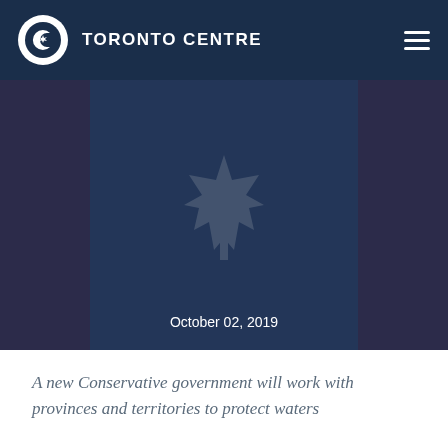TORONTO CENTRE
Conservatives announce plan to end practice of dumping raw sewage in our waters
October 02, 2019
A new Conservative government will work with provinces and territories to protect waters